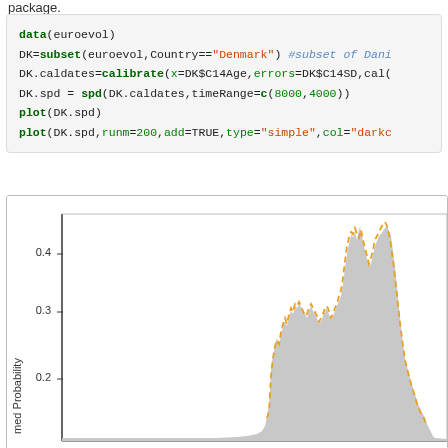package.
data(euroevol)
DK=subset(euroevol,Country=="Denmark") #subset of Dani
DK.caldates=calibrate(x=DK$C14Age, errors=DK$C14SD, cal(
DK.spd = spd(DK.caldates, timeRange=c(8000, 4000))
plot(DK.spd)
plot(DK.spd, runm=200, add=TRUE, type="simple", col="darkc
[Figure (continuous-plot): SPD (Summed Probability Distribution) plot showing summed probability on y-axis (0.2 to 0.4 visible) vs time range. Gray filled area shows raw SPD, orange dashed line shows running mean. Distribution is concentrated in the right portion of the visible chart area, with peaks reaching up to about 0.4.]